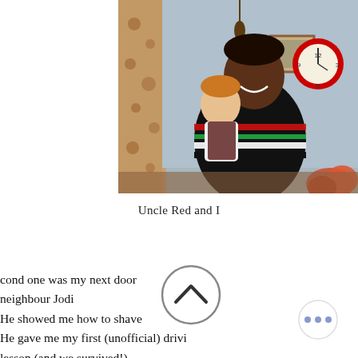[Figure (photo): A man holding a small child indoors. Floral curtains on the left, a clock on the wall upper right, a framed picture, and orange flowers in the background. The man wears a striped sweater.]
Uncle Red and I
...cond one was my next door neighbour Jodi
He showed me how to shave
He gave me my first (unofficial) drivi...
lesson (and we survived!)